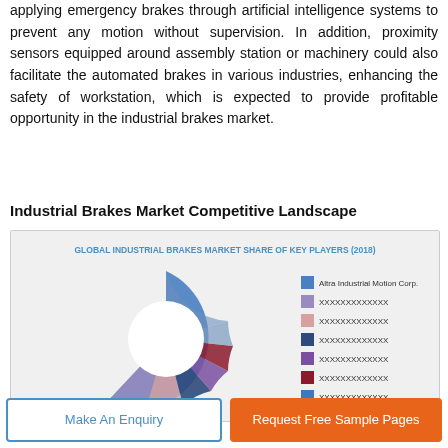applying emergency brakes through artificial intelligence systems to prevent any motion without supervision. In addition, proximity sensors equipped around assembly station or machinery could also facilitate the automated brakes in various industries, enhancing the safety of workstation, which is expected to provide profitable opportunity in the industrial brakes market.
Industrial Brakes Market Competitive Landscape
[Figure (donut-chart): Donut chart showing market share of key players in the global industrial brakes market in 2018. Legend shows: Altra Industrial Motion Corp. (blue), XXXXXXXXXXXXX (lavender), XXXXXXXXXXXXX (pink), XXXXXXXXXXXXX (dark blue), XXXXXXXXXXXXX (purple), XXXXXXXXXXXXX (dark red), XXXXXXXXXXXXX (bright blue).]
Make An Enquiry
Request Free Sample Pages